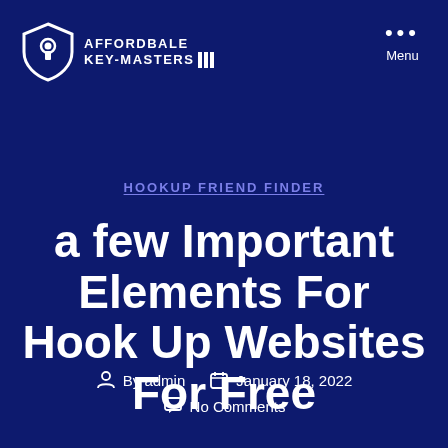[Figure (logo): Affordbale Key-Masters logo: shield with keyhole icon and text AFFORDBALE KEY-MASTERS with vertical bars]
Menu
HOOKUP FRIEND FINDER
a few Important Elements For Hook Up Websites For Free
By admin  January 18, 2022  No Comments